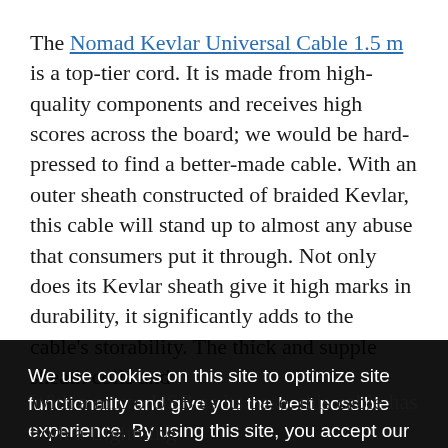The Nomad Kevlar Universal Cable 1.5 m is a top-tier cord. It is made from high-quality components and receives high scores across the board; we would be hard-pressed to find a better-made cable. With an outer sheath constructed of braided Kevlar, this cable will stand up to almost any abuse that consumers put it through. Not only does its Kevlar sheath give it high marks in durability, it significantly adds to the cable's storability. The thick and supple sheath coils and [partially obscured] being [partially obscured] rubber [partially obscured] the strap [partially obscured] change [partially obscured] of extra
We use cookies on this site to optimize site functionality and give you the best possible experience. By using this site, you accept our use of cookies. Learn more
Got it!
With a micro USB as its base, this cable has both a Lightning